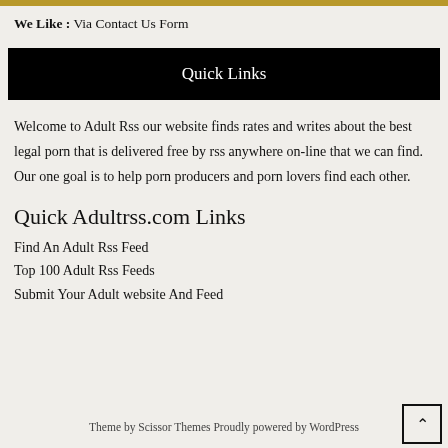We Like : Via Contact Us Form
Quick Links
Welcome to Adult Rss our website finds rates and writes about the best legal porn that is delivered free by rss anywhere on-line that we can find. Our one goal is to help porn producers and porn lovers find each other.
Quick Adultrss.com Links
Find An Adult Rss Feed
Top 100 Adult Rss Feeds
Submit Your Adult website And Feed
Theme by Scissor Themes Proudly powered by WordPress